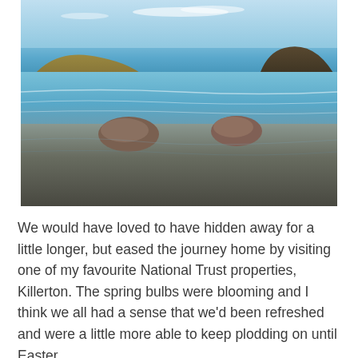[Figure (photo): Beach scene with two large rocks partially submerged in ocean water, hills visible on both sides in the background, blue sky with light clouds above]
We would have loved to have hidden away for a little longer, but eased the journey home by visiting one of my favourite National Trust properties, Killerton. The spring bulbs were blooming and I think we all had a sense that we'd been refreshed and were a little more able to keep plodding on until Easter